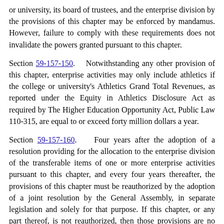or university, its board of trustees, and the enterprise division by the provisions of this chapter may be enforced by mandamus. However, failure to comply with these requirements does not invalidate the powers granted pursuant to this chapter.
Section 59-157-150.    Notwithstanding any other provision of this chapter, enterprise activities may only include athletics if the college or university's Athletics Grand Total Revenues, as reported under the Equity in Athletics Disclosure Act as required by The Higher Education Opportunity Act, Public Law 110-315, are equal to or exceed forty million dollars a year.
Section 59-157-160.    Four years after the adoption of a resolution providing for the allocation to the enterprise division of the transferable items of one or more enterprise activities pursuant to this chapter, and every four years thereafter, the provisions of this chapter must be reauthorized by the adoption of a joint resolution by the General Assembly, in separate legislation and solely for that purpose. If this chapter, or any part thereof, is not reauthorized, then those provisions are no longer effective.
Section 59-157-170.    It is the intent of the General Assembly to review the provisions of this chapter and to determine the merit of this pilot enterprise program after the program has been in effect for at least four years. After reviewing this chapter and making a